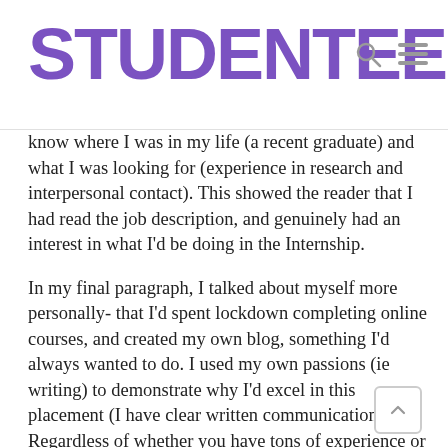STUDENTEER
know where I was in my life (a recent graduate) and what I was looking for (experience in research and interpersonal contact). This showed the reader that I had read the job description, and genuinely had an interest in what I'd be doing in the Internship.
In my final paragraph, I talked about myself more personally- that I'd spent lockdown completing online courses, and created my own blog, something I'd always wanted to do. I used my own passions (ie writing) to demonstrate why I'd excel in this placement (I have clear written communication). Regardless of whether you have tons of experience or none, you have hobbies and passions that can be used to show what you will bring, as well as the skills you gain will lead you to